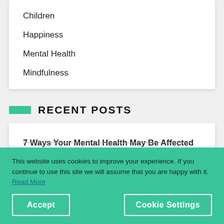Children
Happiness
Mental Health
Mindfulness
RECENT POSTS
7 Ways Your Mental Health May Be Affected After a
This website uses cookies to improve your experience. If you continue to use this site we will assume that you are happy with it. Read More
Accept
Cookie Settings